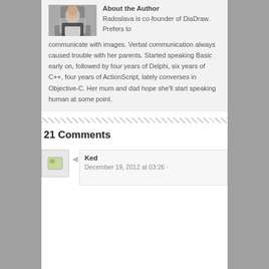[Figure (photo): Photo of a woman sitting with a laptop (MacBook), wearing a black top, looking down at the screen.]
About the Author
Radoslava is co-founder of DiaDraw. Prefers to communicate with images. Verbal communication always caused trouble with her parents. Started speaking Basic early on, followed by four years of Delphi, six years of C++, four years of ActionScript, lately converses in Objective-C. Her mum and dad hope she'll start speaking human at some point.
21 Comments
[Figure (photo): Small avatar image placeholder for commenter Ked.]
Ked
December 19, 2012 at 03:26 ·